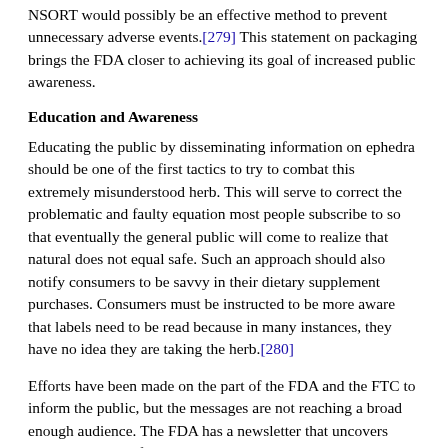NSORT would possibly be an effective method to prevent unnecessary adverse events.[279] This statement on packaging brings the FDA closer to achieving its goal of increased public awareness.
Education and Awareness
Educating the public by disseminating information on ephedra should be one of the first tactics to try to combat this extremely misunderstood herb. This will serve to correct the problematic and faulty equation most people subscribe to so that eventually the general public will come to realize that natural does not equal safe. Such an approach should also notify consumers to be savvy in their dietary supplement purchases. Consumers must be instructed to be more aware that labels need to be read because in many instances, they have no idea they are taking the herb.[280]
Efforts have been made on the part of the FDA and the FTC to inform the public, but the messages are not reaching a broad enough audience. The FDA has a newsletter that uncovers many "top health frauds," while the FTC also has publications to inform the public on how to identify fraudulent claims. [281] The FTC has "advised" the public to be cautious to avoid falling into the trap of thinking natural equals safe, but what percentage of the public received this message? Clearly,